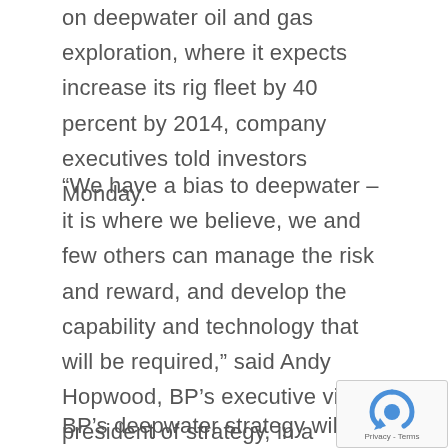on deepwater oil and gas exploration, where it expects increase its rig fleet by 40 percent by 2014, company executives told investors Monday.
“We have a bias to deepwater – it is where we believe, we and few others can manage the risk and reward, and develop the capability and technology that will be required,” said Andy Hopwood, BP’s executive vice president of strategy, in a meeting outside of London that was webcast.
BP’s deepwater strategy will focus on